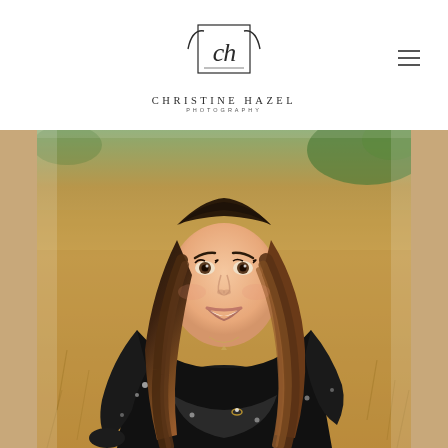CHRISTINE HAZEL PHOTOGRAPHY
[Figure (photo): Portrait of a smiling woman with long brown ombre hair, wearing a black floral dress with long sleeves, standing outdoors in a field with dry golden grass background. She has her arms crossed at her midsection.]